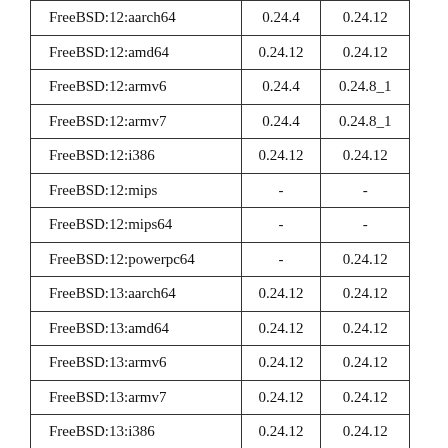|  |  |  |
| --- | --- | --- |
| FreeBSD:12:aarch64 | 0.24.4 | 0.24.12 |
| FreeBSD:12:amd64 | 0.24.12 | 0.24.12 |
| FreeBSD:12:armv6 | 0.24.4 | 0.24.8_1 |
| FreeBSD:12:armv7 | 0.24.4 | 0.24.8_1 |
| FreeBSD:12:i386 | 0.24.12 | 0.24.12 |
| FreeBSD:12:mips | - | - |
| FreeBSD:12:mips64 | - | - |
| FreeBSD:12:powerpc64 | - | 0.24.12 |
| FreeBSD:13:aarch64 | 0.24.12 | 0.24.12 |
| FreeBSD:13:amd64 | 0.24.12 | 0.24.12 |
| FreeBSD:13:armv6 | 0.24.12 | 0.24.12 |
| FreeBSD:13:armv7 | 0.24.12 | 0.24.12 |
| FreeBSD:13:i386 | 0.24.12 | 0.24.12 |
| FreeBSD:13:mips | - | - |
| FreeBSD:13:mips64 | - | - |